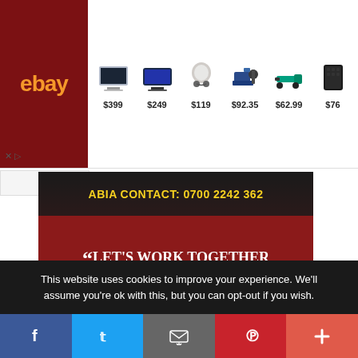[Figure (screenshot): eBay advertisement banner with logo and product listings showing laptops, earbuds, tools at prices $399, $249, $119, $92.35, $62.99, $76]
[Figure (infographic): Abia State COVID-19 contact banner: ABIA CONTACT: 0700 2242 362 with quote 'LET'S WORK TOGETHER TO KEEP OUR PEOPLE SAFE' attributed to DR. OKEZIE IKPEAZU, GOVERNOR, ABIA STATE]
This website uses cookies to improve your experience. We'll assume you're ok with this, but you can opt-out if you wish.
[Figure (infographic): Social media share buttons: Facebook, Twitter, Email, Pinterest, Plus]